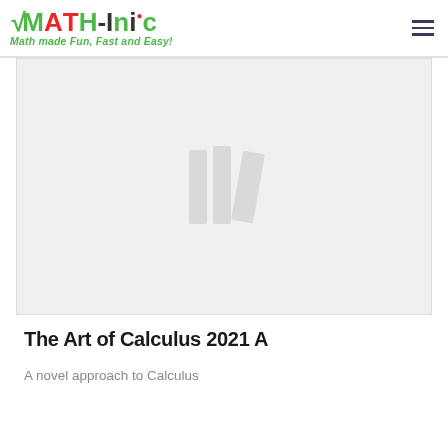MATH-Inic — Math made Fun, Fast and Easy!
[Figure (illustration): Book cover placeholder image showing a book stack icon in light gray on a light gray background]
The Art of Calculus 2021 A
A novel approach to Calculus